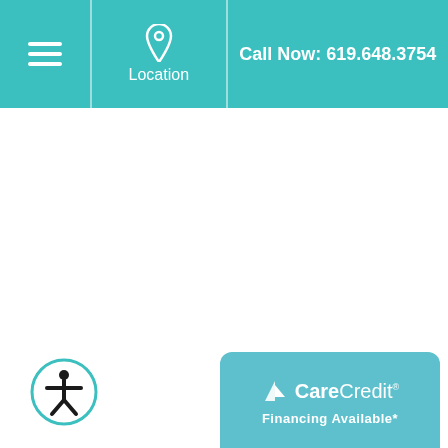Location | Call Now: 619.648.3754
[Figure (logo): CareCredit logo with sail graphic and 'Financing Available*' tagline on teal rounded banner]